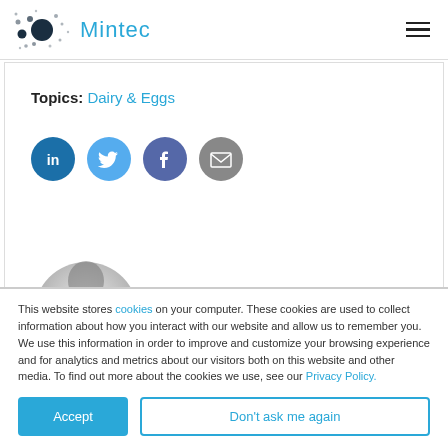[Figure (logo): Mintec logo with dot-cluster graphic and blue 'Mintec' text]
Topics: Dairy & Eggs
[Figure (infographic): Four social media sharing icons: LinkedIn (dark blue), Twitter (light blue), Facebook (blue-purple), Email (grey)]
[Figure (photo): Partially visible circular avatar/profile photo]
This website stores cookies on your computer. These cookies are used to collect information about how you interact with our website and allow us to remember you. We use this information in order to improve and customize your browsing experience and for analytics and metrics about our visitors both on this website and other media. To find out more about the cookies we use, see our Privacy Policy.
Accept
Don't ask me again